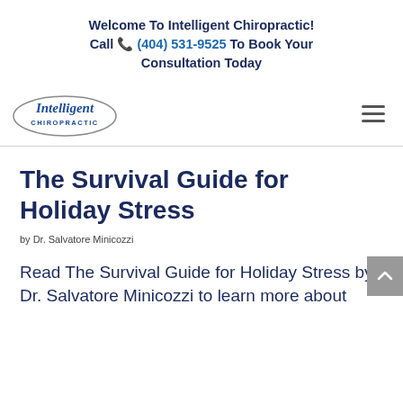Welcome To Intelligent Chiropractic! Call (404) 531-9525 To Book Your Consultation Today
[Figure (logo): Intelligent Chiropractic logo with oval ellipse shape and italic script font]
The Survival Guide for Holiday Stress
by Dr. Salvatore Minicozzi
Read The Survival Guide for Holiday Stress by Dr. Salvatore Minicozzi to learn more about